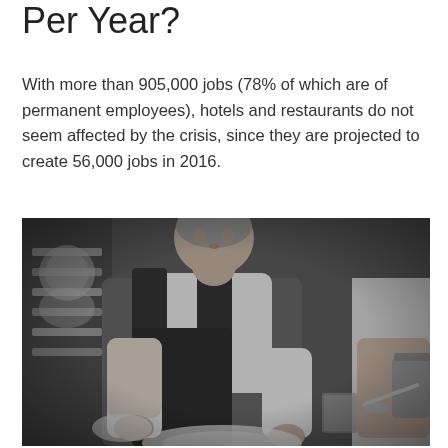Per Year?
With more than 905,000 jobs (78% of which are of permanent employees), hotels and restaurants do not seem affected by the crisis, since they are projected to create 56,000 jobs in 2016.
[Figure (photo): Black and white photo of a chef in a white shirt and dark apron leaning over a plate, plating food in a professional kitchen, with another person visible on the right.]